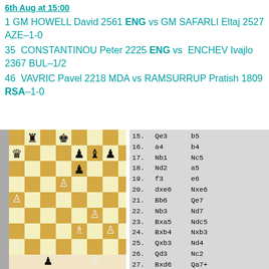6th Aug at 15:00
1 GM HOWELL David 2561 ENG vs GM SAFARLI Eltaj 2527 AZE–1-0
35  CONSTANTINOU Peter 2225 ENG vs  ENCHEV Ivajlo 2367 BUL–1/2
46  VAVRIC Pavel 2218 MDA vs RAMSURRUP Pratish 1809 RSA–1-0
[Figure (other): Chess board position showing mid-game with various pieces]
| Move | White | Black |
| --- | --- | --- |
| 15. | Qe3 | b5 |
| 16. | a4 | b4 |
| 17. | Nb1 | Nc5 |
| 18. | Nd2 | a5 |
| 19. | f3 | e6 |
| 20. | dxe6 | Nxe6 |
| 21. | Bb6 | Qe7 |
| 22. | Nb3 | Nd7 |
| 23. | Bxa5 | Ndc5 |
| 24. | Bxb4 | Nxb3 |
| 25. | Qxb3 | Nd4 |
| 26. | Qd3 | Nc2 |
| 27. | Bxd6 | Qa7+ |
| 28. | Kh1 | Nxa1 |